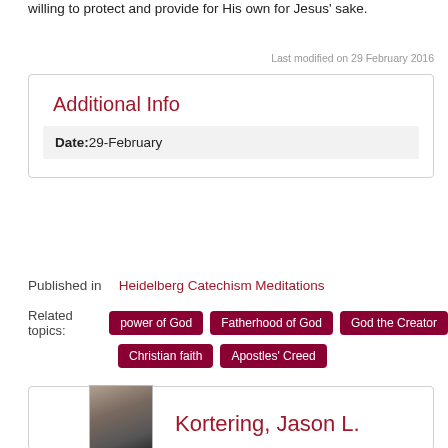willing to protect and provide for His own for Jesus' sake.
Last modified on 29 February 2016
Additional Info
| Date: |
| --- |
| 29-February |
Published in   Heidelberg Catechism Meditations
Related topics: power of God   Fatherhood of God   God the Creator   Christian faith   Apostles' Creed
Kortering, Jason L.